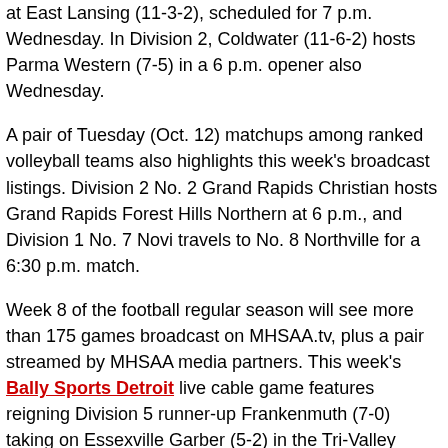at East Lansing (11-3-2), scheduled for 7 p.m. Wednesday. In Division 2, Coldwater (11-6-2) hosts Parma Western (7-5) in a 6 p.m. opener also Wednesday.
A pair of Tuesday (Oct. 12) matchups among ranked volleyball teams also highlights this week's broadcast listings. Division 2 No. 2 Grand Rapids Christian hosts Grand Rapids Forest Hills Northern at 6 p.m., and Division 1 No. 7 Novi travels to No. 8 Northville for a 6:30 p.m. match.
Week 8 of the football regular season will see more than 175 games broadcast on MHSAA.tv, plus a pair streamed by MHSAA media partners. This week's Bally Sports Detroit live cable game features reigning Division 5 runner-up Frankenmuth (7-0) taking on Essexville Garber (5-2) in the Tri-Valley Conference, kicking off at 7 p.m. Friday (Oct. 15) on the Bally Sports Detroit PLUS channel as well as online and on the BSD